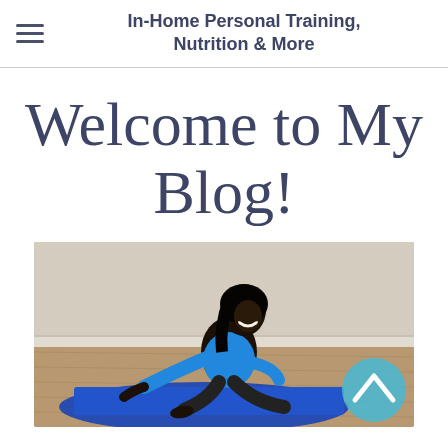In-Home Personal Training, Nutrition & More
Welcome to My Blog!
[Figure (photo): A woman in a blue tank top doing a stretching exercise on a blue yoga mat on a hardwood floor, smiling at the camera. A teal scroll-to-top button is visible in the lower right of the image.]